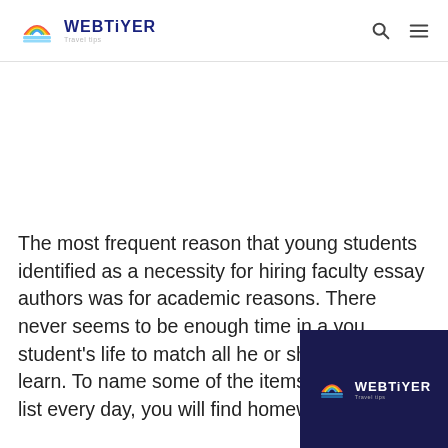WEBTIYER
The most frequent reason that young students identified as a necessity for hiring faculty essay authors was for academic reasons. There never seems to be enough time in a young student's life to match all he or she needs to learn. To name some of the items on the to-do list every day, you will find homewor...
[Figure (logo): WEBTiYER logo overlay in dark navy box, bottom right corner]